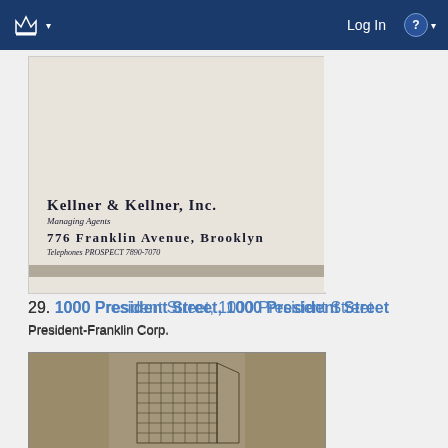Log In
[Figure (photo): Scanned letterhead image for Kellner & Kellner, Inc., Managing Agents, 776 Franklin Avenue, Brooklyn. Telephones PROSPECT 7890-7070]
29. 1000 President Street, 1000 President Street
President-Franklin Corp.
[Figure (illustration): Architectural sketch/illustration of a multi-story building on a tan/gold background]